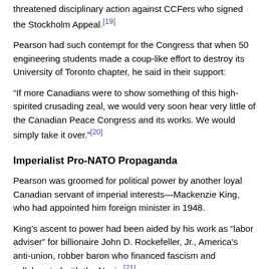threatened disciplinary action against CCFers who signed the Stockholm Appeal.[19]
Pearson had such contempt for the Congress that when 50 engineering students made a coup-like effort to destroy its University of Toronto chapter, he said in their support:
“If more Canadians were to show something of this high-spirited crusading zeal, we would very soon hear very little of the Canadian Peace Congress and its works. We would simply take it over.”[20]
Imperialist Pro-NATO Propaganda
Pearson was groomed for political power by another loyal Canadian servant of imperial interests—Mackenzie King, who had appointed him foreign minister in 1948.
King’s ascent to power had been aided by his work as “labor adviser” for billionaire John D. Rockefeller, Jr., America’s anti-union, robber baron who financed fascism and collaborated with the Nazis.[21]